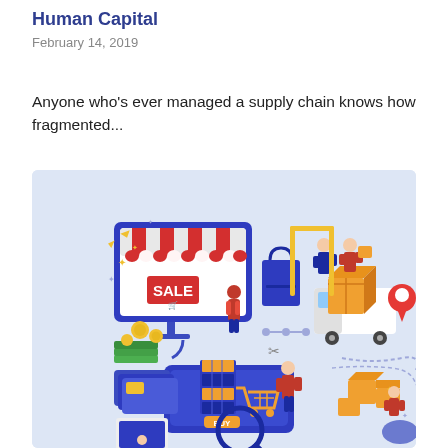Human Capital
February 14, 2019
Anyone who's ever managed a supply chain knows how fragmented...
[Figure (illustration): Isometric e-commerce and supply chain illustration showing a computer monitor with a SALE sign, shopping bags, delivery truck, boxes, a shopping cart, mobile phone, and various people engaging in retail and logistics activities on a light blue background.]